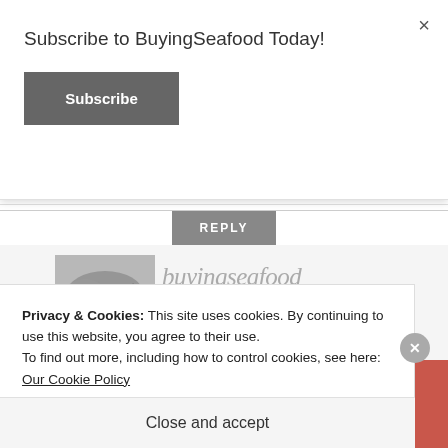Subscribe to BuyingSeafood Today!
Subscribe
Liked by 1 person
REPLY
[Figure (logo): buyingseafood logo with fish illustration]
Privacy & Cookies: This site uses cookies. By continuing to use this website, you agree to their use.
To find out more, including how to control cookies, see here: Our Cookie Policy
Close and accept